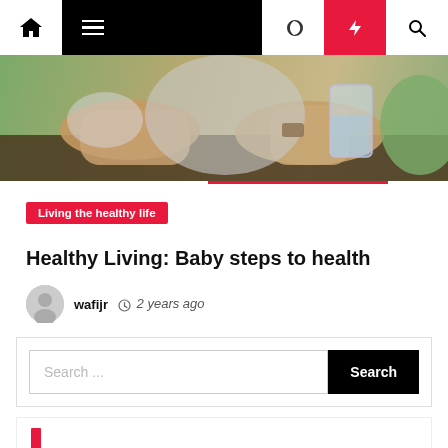Navigation bar with home, menu, moon, bolt, and search icons
[Figure (photo): Hands holding a glass of water on a wooden table, with a water pitcher nearby. Outdoor background visible.]
Living the healthy life
Healthy Living: Baby steps to health
wafijr  2 years ago
Search ...
Search